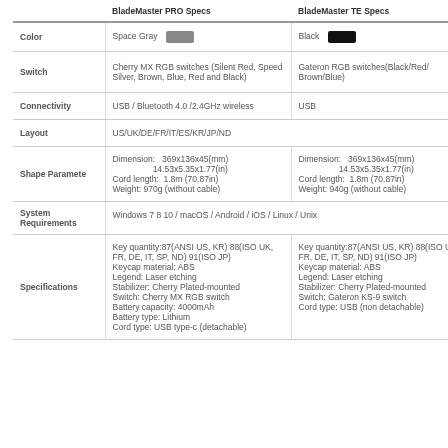|  | BladeMaster PRO Specs | BladeMaster TE Specs |
| --- | --- | --- |
| Color | Space Gray [swatch] | Black [swatch] |
| Switch | Cherry MX RGB switches (Silent Red, Speed Silver, Brown, Blue, Red and Black) | Gateron RGB switches(Black/Red/Brown/Blue) |
| Connectivity | USB / Bluetooth 4.0 /2.4GHz wireless | USB |
| Layout | US/UK/DE/FR/IT/ES/KR/JP/ND |  |
| Shape Paramete | Dimension: 369x136x45(mm) 14.53x5.35x1.77(in)
Cord length: 1.8m (70.87in)
Weight: 970g (without cable) | Dimension: 369x136x45(mm) 14.53x5.35x1.77(in)
Cord length: 1.8m (70.87in)
Weight: 940g (without cable) |
| System Requirements | Windows 7 8 10 / macOS / Android / iOS / Linux / Unix |  |
| Specifications | Key quantity:87(ANSI US, KR) 88(ISO UK, FR, DE, IT, SP, ND) 91(ISO JP)
Keycap material: ABS
Legend: Laser etching
Stabilizer: Cherry Plated-mounted
Switch: Cherry MX RGB switch
Battery capacity: 4000mAh
Battery type: Lithium
Cord type: USB type-c (detachable) | Key quantity:87(ANSI US, KR) 88(ISO UK, FR, DE, IT, SP, ND) 91(ISO JP)
Keycap material: ABS
Legend: Laser etching
Stabilizer: Cherry Plated-mounted
Switch: Gateron KS-9 switch
Cord type: USB (non detachable) |